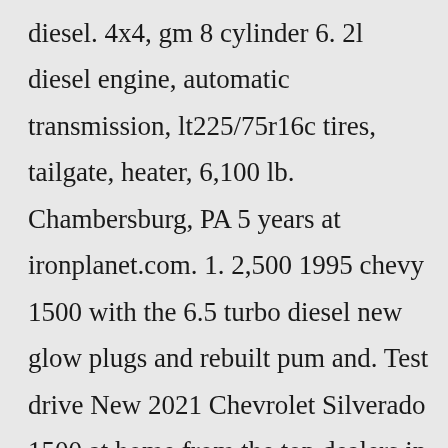diesel. 4x4, gm 8 cylinder 6. 2l diesel engine, automatic transmission, lt225/75r16c tires, tailgate, heater, 6,100 lb. Chambersburg, PA 5 years at ironplanet.com. 1. 2,500 1995 chevy 1500 with the 6.5 turbo diesel new glow plugs and rebuilt pum and. Test drive New 2021 Chevrolet Silverado 1500 at home from the top dealers in your area. Search from 158 New Chevrolet Silverado 1500 cars for sale,